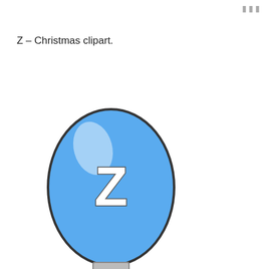Z – Christmas clipart.
[Figure (illustration): A blue Christmas light bulb illustration with the letter Z written in white on the bulb body and a silver screw base at the bottom.]
Save / Edit
Christmas Lettering Font (Printable Ornaments & Decorations)
0 -Christmas decorations.
[Figure (illustration): A magenta/pink Christmas ornament bulb illustration, partially visible at bottom of page.]